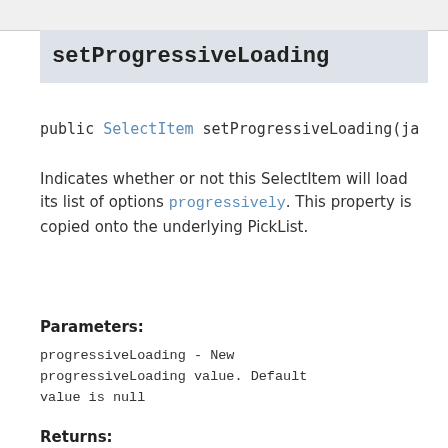setProgressiveLoading
public SelectItem setProgressiveLoading(ja
Indicates whether or not this SelectItem will load its list of options progressively. This property is copied onto the underlying PickList.
Parameters:
progressiveLoading - New progressiveLoading value. Default value is null
Returns: